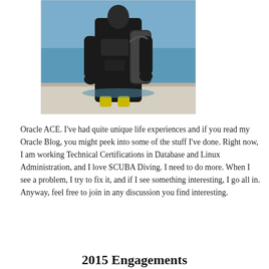[Figure (photo): A scuba diver in a black wetsuit with a scuba tank on their back, standing on a boat with blue water in the background.]
Oracle ACE. I've had quite unique life experiences and if you read my Oracle Blog, you might peek into some of the stuff I've done. Right now, I am working Technical Certifications in Database and Linux Administration, and I love SCUBA Diving. I need to do more. When I see a problem, I try to fix it, and if I see something interesting, I go all in. Anyway, feel free to join in any discussion you find interesting.
2015 Engagements